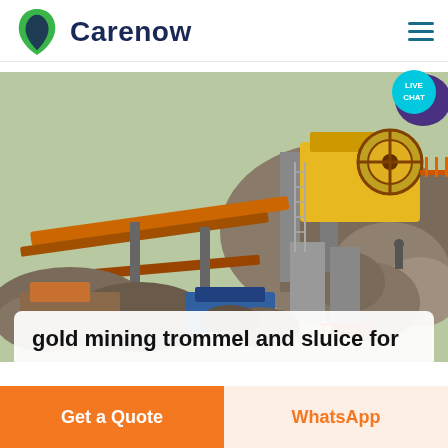Carenow
[Figure (photo): Mining site with heavy yellow crushing/screening machinery, conveyor belts, rock piles, and industrial equipment. Text 'TRIDZ' visible in orange on machinery at lower right.]
gold mining trommel and sluice for
Get a Quote
WhatsApp